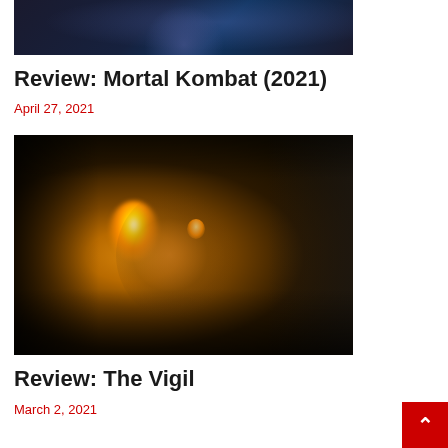[Figure (photo): Partial view of a dark movie scene from Mortal Kombat (2021), showing a bluish-dark stylized action scene]
Review: Mortal Kombat (2021)
April 27, 2021
[Figure (photo): Movie still from The Vigil showing a man holding a candle in a dark room, his face illuminated by the candlelight with amber/orange glow]
Review: The Vigil
March 2, 2021